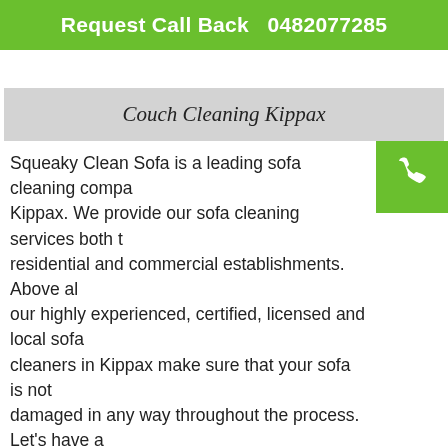Request Call Back   0482077285
Couch Cleaning Kippax
Squeaky Clean Sofa is a leading sofa cleaning company in Kippax. We provide our sofa cleaning services both to residential and commercial establishments. Above all, our highly experienced, certified, licensed and local sofa cleaners in Kippax make sure that your sofa is not damaged in any way throughout the process. Let's have a quick look at our sofa cleaning services.
Does Your Sofa Require Cleaning?
It's a big question to decide when you should clean your sofas. There are times when you start noticing that the